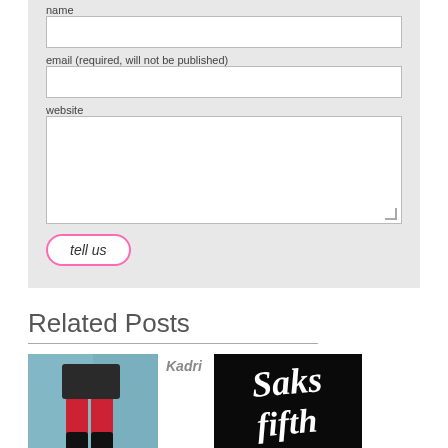name
email (required, will not be published)
website
tell us
Related Posts
Kadri
[Figure (photo): Photo of person wearing red stockings and high heels]
[Figure (logo): Saks Fifth Avenue logo in white script on black background]